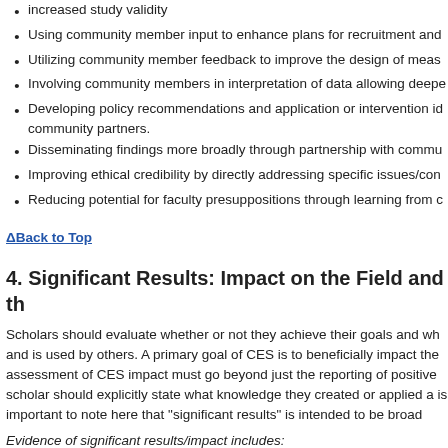increased study validity
Using community member input to enhance plans for recruitment and
Utilizing community member feedback to improve the design of meas
Involving community members in interpretation of data allowing deepe
Developing policy recommendations and application or intervention id community partners.
Disseminating findings more broadly through partnership with commu
Improving ethical credibility by directly addressing specific issues/con
Reducing potential for faculty presuppositions through learning from c
ΔBack to Top
4. Significant Results: Impact on the Field and th
Scholars should evaluate whether or not they achieve their goals and wh and is used by others. A primary goal of CES is to beneficially impact the assessment of CES impact must go beyond just the reporting of positive scholar should explicitly state what knowledge they created or applied a is important to note here that "significant results" is intended to be broad
Evidence of significant results/impact includes:
The community contributing to as well as benefiting from the research